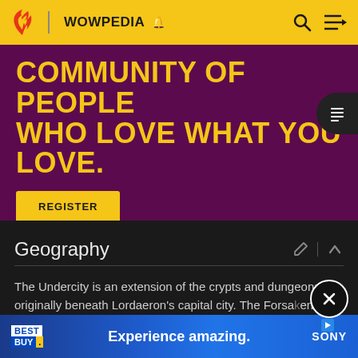WOWPEDIA
COMMUNITY OF PEOPLE WHO LOVE WHAT YOU LOVE.
REGISTER
Geography
The Undercity is an extension of the crypts and dungeons originally beneath Lordaeron's capital city. The Forsaken dredged out a massive underground area below the Ruins of Lordaeron for their own purposes and has an evil feel. Spiders, oozes and other
[Figure (screenshot): Best Buy advertisement banner: 'Experience amazing.' with Sony branding]